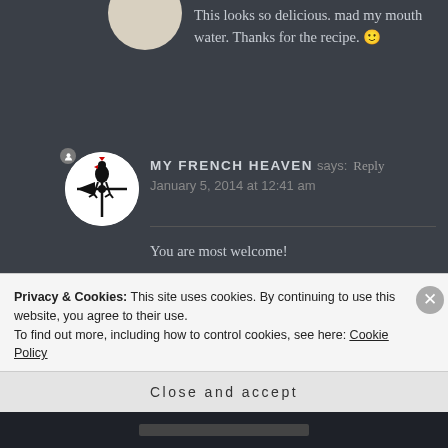This looks so delicious. mad my mouth water. Thanks for the recipe. 🙂
MY FRENCH HEAVEN says: Reply
January 5, 2014 at 12:41 am
You are most welcome!
Privacy & Cookies: This site uses cookies. By continuing to use this website, you agree to their use.
To find out more, including how to control cookies, see here: Cookie Policy
Close and accept